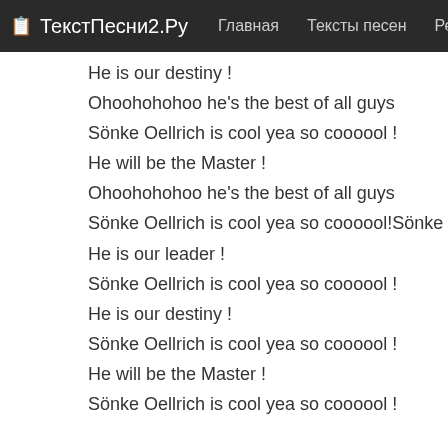📋 ТекстПесни2.Ру   Главная   Тексты песен   Рейти
He is our destiny !
Ohoohohohoo he's the best of all guys
Sönke Oellrich is cool yea so coooool !
He will be the Master !
Ohoohohohoo he's the best of all guys
Sönke Oellrich is cool yea so coooool!Sönke Oellrich is coo
He is our leader !
Sönke Oellrich is cool yea so coooool !
He is our destiny !
Sönke Oellrich is cool yea so coooool !
He will be the Master !
Sönke Oellrich is cool yea so coooool !
Посмотреть популярные тексты песен и переводы Backstreet B
Backstreet Boys - Incomplete